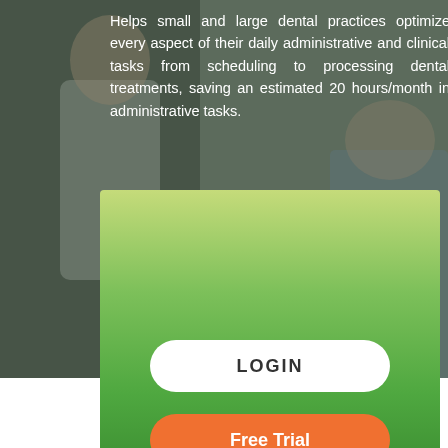[Figure (photo): Background photo of a dental professional working with a patient, overlaid with a dark tint]
Helps small and large dental practices optimize every aspect of their daily administrative and clinical tasks from scheduling to processing dental treatments, saving an estimated 20 hours/month in administrative tasks.
[Figure (screenshot): Green gradient card panel containing a LOGIN button and a Free Trial button]